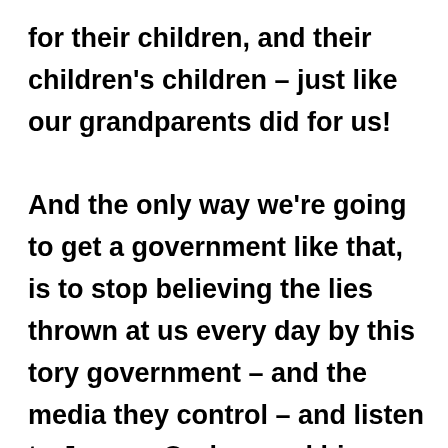for their children, and their children's children – just like our grandparents did for us! And the only way we're going to get a government like that, is to stop believing the lies thrown at us every day by this tory government – and the media they control – and listen to Jeremy Corbyn and his cabinet-in-waiting, and then vote